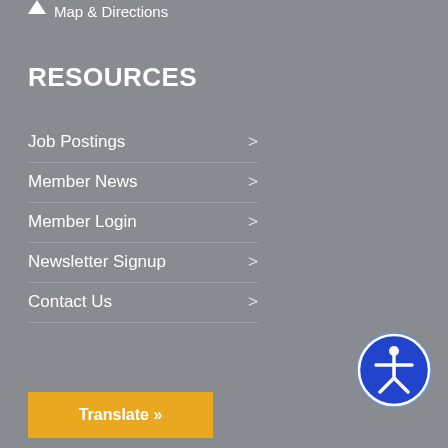Map & Directions
RESOURCES
Job Postings >
Member News >
Member Login >
Newsletter Signup >
Contact Us >
[Figure (illustration): Accessibility icon — blue circle with white stick figure person]
Translate »